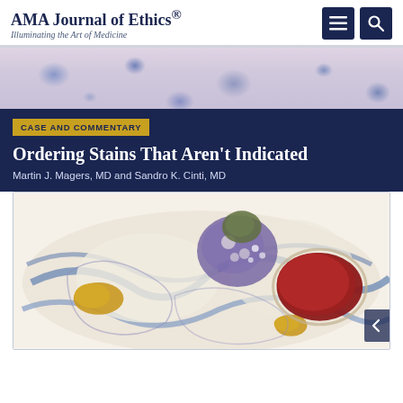AMA Journal of Ethics® — Illuminating the Art of Medicine
[Figure (photo): Microscopy image strip showing cells with blue-stained nuclei on a pink/purple background — histological slide at high magnification]
CASE AND COMMENTARY
Ordering Stains That Aren't Indicated
Martin J. Magers, MD and Sandro K. Cinti, MD
[Figure (photo): Histological cross-section image showing tissue stained with Movat pentachrome or similar special stain — displaying blue connective tissue fibers, purple cellular clusters, golden-yellow adipose/lipid deposits, and a large red blood-filled vessel lumen against a cream/white background]